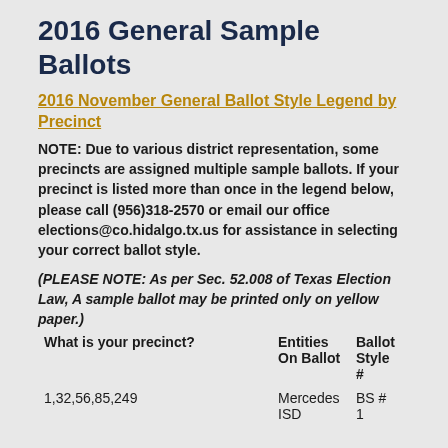2016 General Sample Ballots
2016 November General Ballot Style Legend by Precinct
NOTE: Due to various district representation, some precincts are assigned multiple sample ballots. If your precinct is listed more than once in the legend below, please call (956)318-2570 or email our office elections@co.hidalgo.tx.us for assistance in selecting your correct ballot style.
(PLEASE NOTE: As per Sec. 52.008 of Texas Election Law, A sample ballot may be printed only on yellow paper.)
| What is your precinct? | Entities On Ballot | Ballot Style # |
| --- | --- | --- |
| 1,32,56,85,249 | Mercedes ISD | BS # 1 |